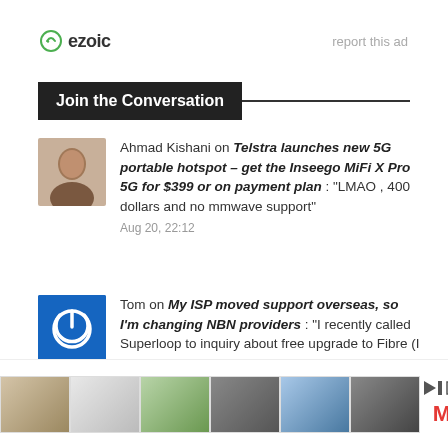[Figure (logo): Ezoic logo with green circular icon and 'ezoic' text, plus 'report this ad' link on right]
Join the Conversation
Ahmad Kishani on Telstra launches new 5G portable hotspot – get the Inseego MiFi X Pro 5G for $399 or on payment plan : "LMAO , 400 dollars and no mmwave support"
Aug 20, 22:12
Tom on My ISP moved support overseas, so I'm changing NBN providers : "I recently called Superloop to inquiry about free upgrade to Fibre (I was on FTTC). I spoke with a lady..."
Aug 20, 13:11
Ahmad on My ISP moved support overseas, so I'm
[Figure (infographic): Bottom ad banner with 6 product thumbnail images and play/ad controls]